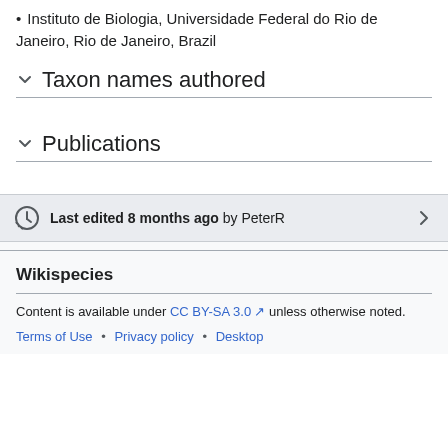Laboratório de Entomologia, Departamento de Zoologia, Instituto de Biologia, Universidade Federal do Rio de Janeiro, Rio de Janeiro, Brazil
Taxon names authored
Publications
Last edited 8 months ago by PeterR
Wikispecies
Content is available under CC BY-SA 3.0 unless otherwise noted.
Terms of Use • Privacy policy • Desktop